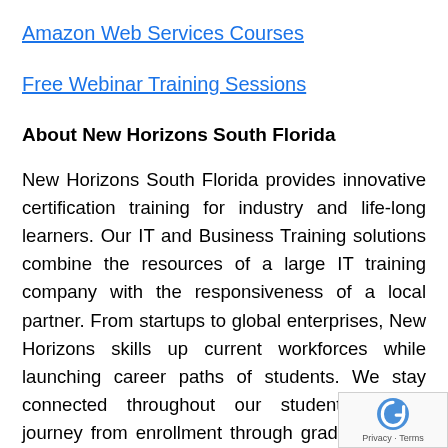Amazon Web Services Courses
Free Webinar Training Sessions
About New Horizons South Florida
New Horizons South Florida provides innovative certification training for industry and life-long learners. Our IT and Business Training solutions combine the resources of a large IT training company with the responsiveness of a local partner. From startups to global enterprises, New Horizons skills up current workforces while launching career paths of students. We stay connected throughout our students' career journey from enrollment through graduation, job placement to career advancement. Offering the latest in technology training, we are certified as a Microsoft Partner with a Gold Learning competency, Citrix Authorized Learning Ce... Cisco Partner for Platinum